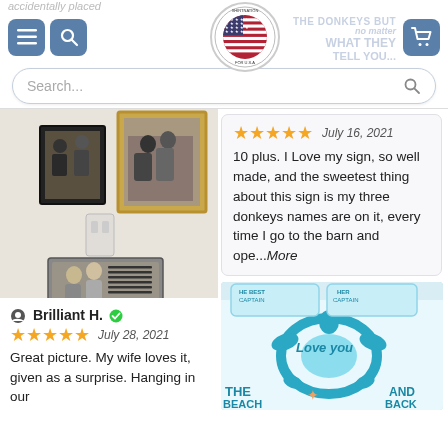Shirtnation website header with navigation, logo, and search bar
[Figure (photo): Product photo on wall showing a personalized sign hung among framed family photos]
Brilliant H. ✅
★★★★★  July 28, 2021
Great picture. My wife loves it, given as a surprise. Hanging in our
★★★★★  July 16, 2021
10 plus. I Love my sign, so well made, and the sweetest thing about this sign is my three donkeys names are on it, every time I go to the barn and ope...More
[Figure (photo): Product photo showing a teal/turquoise beach-themed quilt with sea turtle design on a bed]